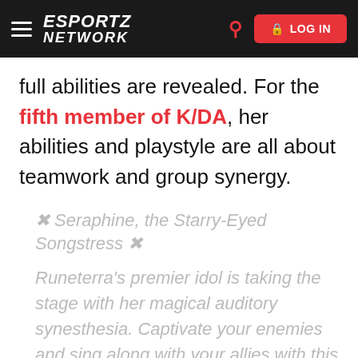ESPORTZ NETWORK
full abilities are revealed. For the fifth member of K/DA, her abilities and playstyle are all about teamwork and group synergy.
✦ Seraphine, the Starry-Eyed Songstress ✦
Runeterra's premier idol is taking the stage with her magical auditory synesthesia. Captivate your enemies and sing along with your allies with this pink-haired dreamer.